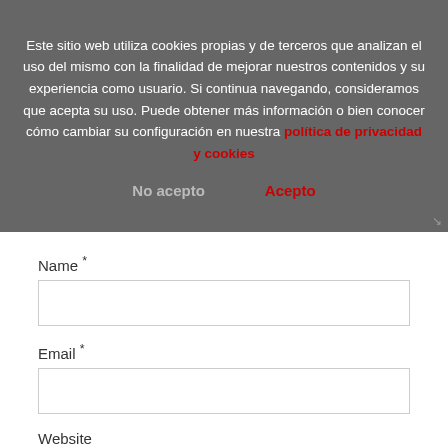Este sitio web utiliza cookies propias y de terceros que analizan el uso del mismo con la finalidad de mejorar nuestros contenidos y su experiencia como usuario. Si continua navegando, consideramos que acepta su uso. Puede obtener más información o bien conocer cómo cambiar su configuración en nuestra política de privacidad y cookies
No acepto   Acepto
Name *
Email *
Website